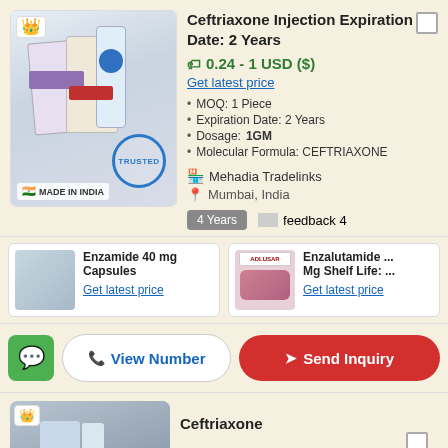Ceftriaxone Injection Expiration Date: 2 Years
0.24 - 1 USD ($)
Get latest price
MOQ: 1 Piece
Expiration Date: 2 Years
Dosage: 1GM
Molecular Formula: CEFTRIAXONE
Mehadia Tradelinks
Mumbai, India
4 Years  feedback 4
Enzamide 40 mg Capsules
Get latest price
Enzalutamide ... Mg Shelf Life: ...
Get latest price
View Number
Send Inquiry
Ceftriaxone